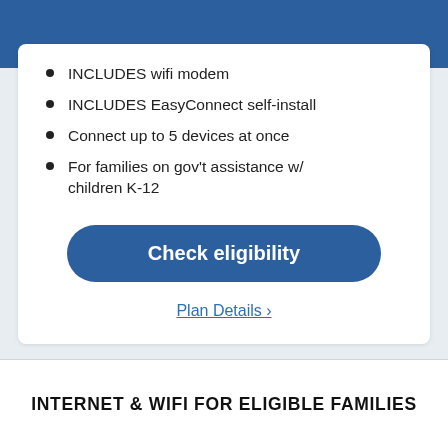INCLUDES wifi modem
INCLUDES EasyConnect self-install
Connect up to 5 devices at once
For families on gov't assistance w/ children K-12
Check eligibility
Plan Details ›
INTERNET & WIFI FOR ELIGIBLE FAMILIES